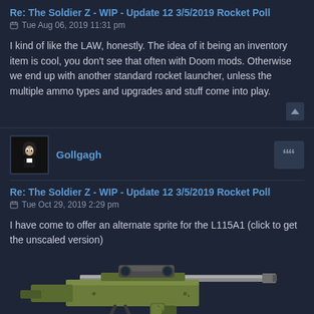Re: The Soldier Z - WIP - Update 12 3/5/2019 Rocket Poll
Tue Aug 06, 2019 11:31 pm
I kind of like the LAW, honestly. The idea of it being an inventory item is cool, you don't see that often with Doom mods. Otherwise we end up with another standard rocket launcher, unless the multiple ammo types and upgrades and stuff come into play.
Gollgagh
Re: The Soldier Z - WIP - Update 12 3/5/2019 Rocket Poll
Tue Oct 29, 2019 2:29 pm
I have come to offer an alternate sprite for the L115A1 (click to get the unscaled version)
[Figure (illustration): Pixel art sprite of an olive-green sniper rifle (L115A1) with a scope and bipod, in game sprite style on dark background]
bonus: it should be in the Doom palette if I did it properly